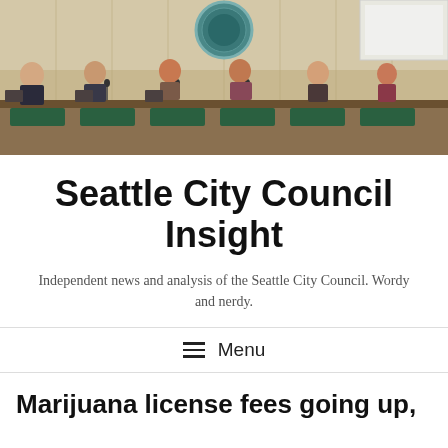[Figure (photo): Seattle City Council chamber photo showing council members seated at a curved dais with wood paneling and a circular city seal in the background]
Seattle City Council Insight
Independent news and analysis of the Seattle City Council. Wordy and nerdy.
☰ Menu
Marijuana license fees going up,